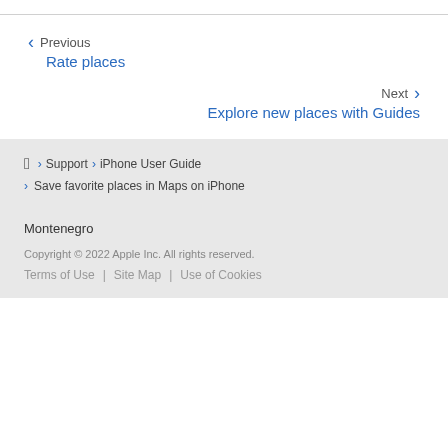< Previous
Rate places
Next >
Explore new places with Guides
> Support > iPhone User Guide > Save favorite places in Maps on iPhone
Montenegro
Copyright © 2022 Apple Inc. All rights reserved.
Terms of Use | Site Map | Use of Cookies